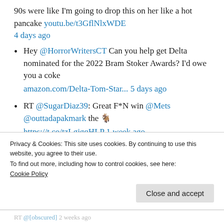90s were like I'm going to drop this on her like a hot pancake youtu.be/t3GflNlxWDE 4 days ago
Hey @HorrorWritersCT Can you help get Delta nominated for the 2022 Bram Stoker Awards? I'd owe you a coke amazon.com/Delta-Tom-Star... 5 days ago
RT @SugarDiaz39: Great F*N win @Mets @outtadapakmark the 🐐 https://t.co/tzLgjgqHLP 1 week ago
Privacy & Cookies: This site uses cookies. By continuing to use this website, you agree to their use.
To find out more, including how to control cookies, see here:
Cookie Policy
Close and accept
RT @[obscured] 2 weeks ago